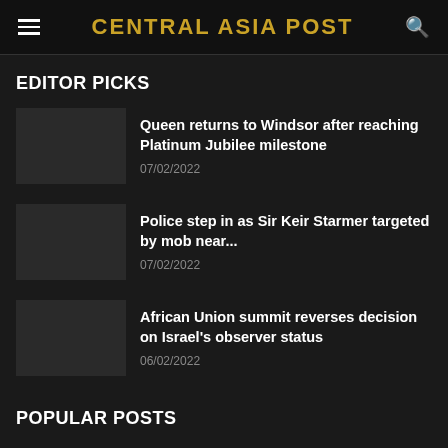CENTRAL ASIA POST
EDITOR PICKS
Queen returns to Windsor after reaching Platinum Jubilee milestone | 07/02/2022
Police step in as Sir Keir Starmer targeted by mob near... | 07/02/2022
African Union summit reverses decision on Israel's observer status | 06/02/2022
POPULAR POSTS